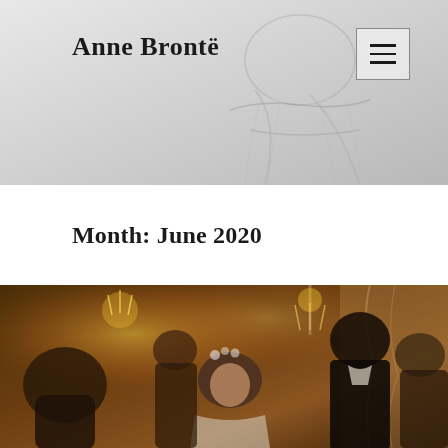[Figure (photo): Pencil sketch / grayscale illustration of a woman in Victorian-era dress, used as website header background]
Anne Brontë
Month: June 2020
[Figure (photo): Period drama photograph showing elegantly dressed people at a candlelit 19th-century social gathering; a young woman with flowers in her hair at the center]